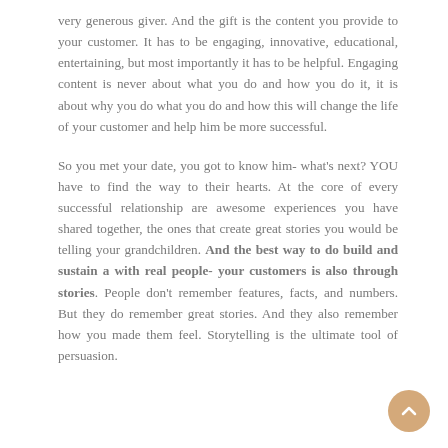very generous giver. And the gift is the content you provide to your customer. It has to be engaging, innovative, educational, entertaining, but most importantly it has to be helpful. Engaging content is never about what you do and how you do it, it is about why you do what you do and how this will change the life of your customer and help him be more successful.
So you met your date, you got to know him- what's next? YOU have to find the way to their hearts. At the core of every successful relationship are awesome experiences you have shared together, the ones that create great stories you would be telling your grandchildren. And the best way to do build and sustain a with real people- your customers is also through stories. People don't remember features, facts, and numbers. But they do remember great stories. And they also remember how you made them feel. Storytelling is the ultimate tool of persuasion.